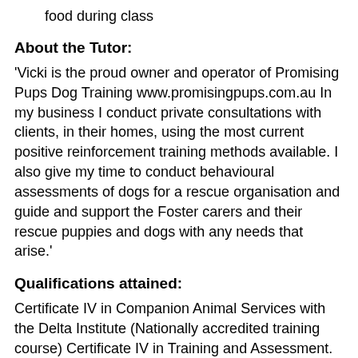food during class
About the Tutor:
'Vicki is the proud owner and operator of Promising Pups Dog Training www.promisingpups.com.au In my business I conduct private consultations with clients, in their homes, using the most current positive reinforcement training methods available. I also give my time to conduct behavioural assessments of dogs for a rescue organisation and guide and support the Foster carers and their rescue puppies and dogs with any needs that arise.'
Qualifications attained:
Certificate IV in Companion Animal Services with the Delta Institute (Nationally accredited training course) Certificate IV in Training and Assessment.
Other Information:
To ensure resources are ready for you at the start of